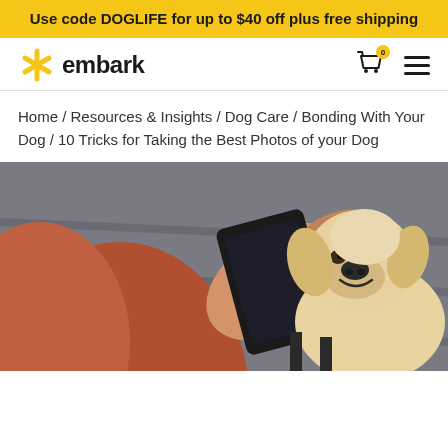Use code DOGLIFE for up to $40 off plus free shipping
[Figure (logo): Embark logo — yellow star/asterisk shape followed by the word 'embark' in bold black text]
Home / Resources & Insights / Dog Care / Bonding With Your Dog / 10 Tricks for Taking the Best Photos of your Dog
[Figure (photo): A person photographing a happy golden retriever dog with a smartphone, viewed from above/behind the person]